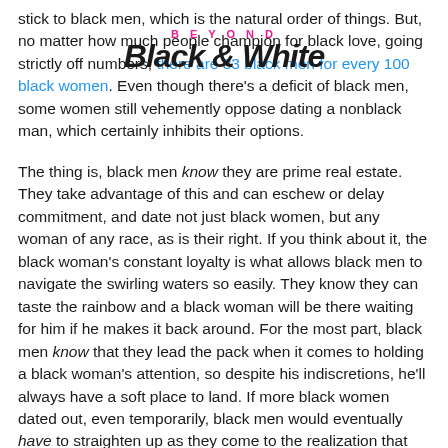[Figure (logo): Blog header logo with 'BEYOND' in pink spaced letters above 'Black & White' in large black italic script font]
stick to black men, which is the natural order of things. But, no matter how much people champion for black love, going strictly off numbers, there are 83 black men for every 100 black women. Even though there's a deficit of black men, some women still vehemently oppose dating a nonblack man, which certainly inhibits their options.
The thing is, black men know they are prime real estate. They take advantage of this and can eschew or delay commitment, and date not just black women, but any woman of any race, as is their right. If you think about it, the black woman's constant loyalty is what allows black men to navigate the swirling waters so easily. They know they can taste the rainbow and a black woman will be there waiting for him if he makes it back around. For the most part, black men know that they lead the pack when it comes to holding a black woman's attention, so despite his indiscretions, he'll always have a soft place to land. If more black women dated out, even temporarily, black men would eventually have to straighten up as they come to the realization that their monopoly on the black vagina